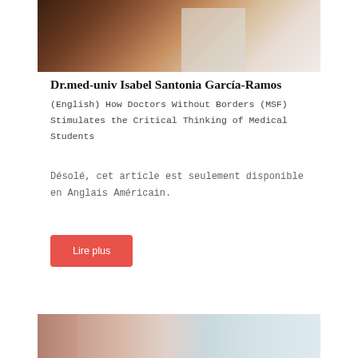[Figure (photo): Doctor or medical professional, cropped upper body, stethoscope visible]
Dr.med-univ Isabel Santonia García-Ramos
(English) How Doctors Without Borders (MSF) Stimulates the Critical Thinking of Medical Students
Désolé, cet article est seulement disponible en Anglais Américain.
Lire plus
[Figure (photo): Person from behind, light blue background, medical context]